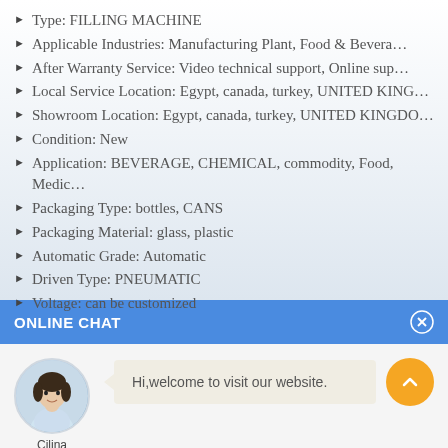Type: FILLING MACHINE
Applicable Industries: Manufacturing Plant, Food & Bevera…
After Warranty Service: Video technical support, Online sup…
Local Service Location: Egypt, canada, turkey, UNITED KING…
Showroom Location: Egypt, canada, turkey, UNITED KINGDO…
Condition: New
Application: BEVERAGE, CHEMICAL, commodity, Food, Medic…
Packaging Type: bottles, CANS
Packaging Material: glass, plastic
Automatic Grade: Automatic
Driven Type: PNEUMATIC
Voltage: can be customized
ONLINE CHAT
[Figure (photo): Avatar photo of a woman named Cilina, used as chat representative icon]
Hi,welcome to visit our website.